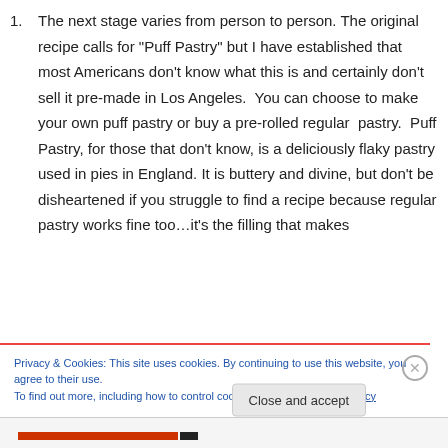The next stage varies from person to person. The original recipe calls for “Puff Pastry” but I have established that most Americans don’t know what this is and certainly don’t sell it pre-made in Los Angeles.  You can choose to make your own puff pastry or buy a pre-rolled regular  pastry.  Puff Pastry, for those that don’t know, is a deliciously flaky pastry used in pies in England. It is buttery and divine, but don’t be disheartened if you struggle to find a recipe because regular pastry works fine too…it’s the filling that makes
Privacy & Cookies: This site uses cookies. By continuing to use this website, you agree to their use.
To find out more, including how to control cookies, see here: Cookie Policy
Close and accept